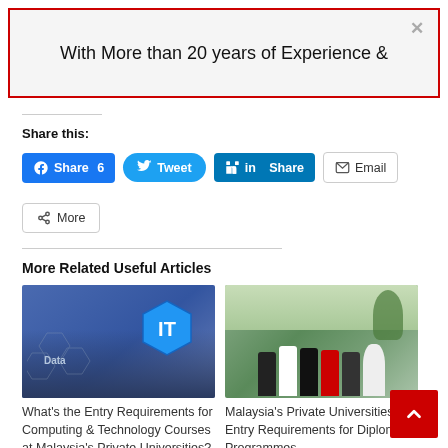With More than 20 years of Experience &
Share this:
Share 6  Tweet  Share  Email  More
More Related Useful Articles
[Figure (photo): IT technology concept image showing a hand pointing at a hexagonal IT badge with Data text]
What's the Entry Requirements for Computing & Technology Courses at Malaysia's Private Universities?
[Figure (photo): Group photo of students and a mascot at a Malaysian private university outdoor event]
Malaysia's Private Universities Entry Requirements for Diploma Programmes